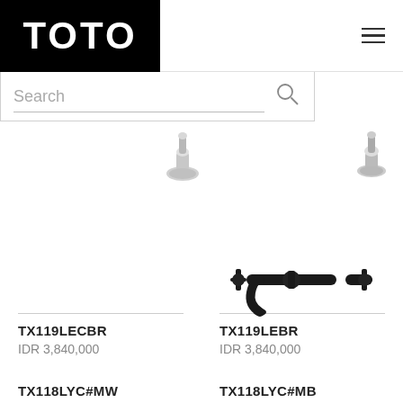TOTO
Search
TX119LECBR
IDR 3,840,000
TX119LEBR
IDR 3,840,000
[Figure (photo): Black wall-mount faucet with cross handles]
TX118LYC#MW
TX118LYC#MB